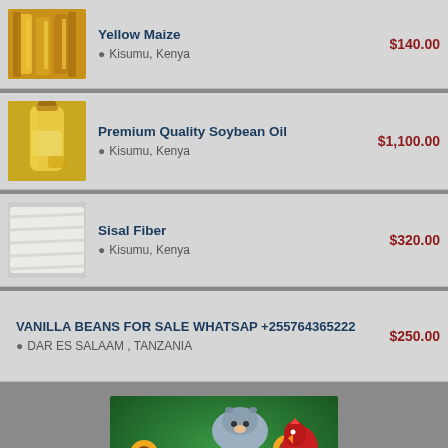Yellow Maize | Kisumu, Kenya | $140.00
Premium Quality Soybean Oil | Kisumu, Kenya | $1,100.00
Sisal Fiber | Kisumu, Kenya | $320.00
VANILLA BEANS FOR SALE WHATSAP +255764365222 | DAR ES SALAAM , TANZANIA | $250.00
[Figure (illustration): Promotional image on green background showing farm animals (cow, goat, rooster), a person, sunflowers, and other farm elements]